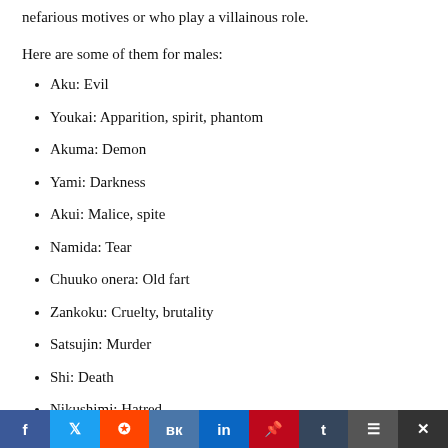nefarious motives or who play a villainous role.
Here are some of them for males:
Aku: Evil
Youkai: Apparition, spirit, phantom
Akuma: Demon
Yami: Darkness
Akui: Malice, spite
Namida: Tear
Chuuko onera: Old fart
Zankoku: Cruelty, brutality
Satsujin: Murder
Shi: Death
Nikushimi: Hatred
Here are some female anime names with dark m